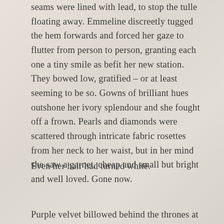seams were lined with lead, to stop the tulle floating away. Emmeline discreetly tugged the hem forwards and forced her gaze to flutter from person to person, granting each one a tiny smile as befit her new station. They bowed low, gratified – or at least seeming to be so. Gowns of brilliant hues outshone her ivory splendour and she fought off a frown. Pearls and diamonds were scattered through intricate fabric rosettes from her neck to her waist, but in her mind she saw a garnet, cheap and small but bright and well loved. Gone now.
Even her hair had turned white.
Purple velvet billowed behind the thrones at the end of the